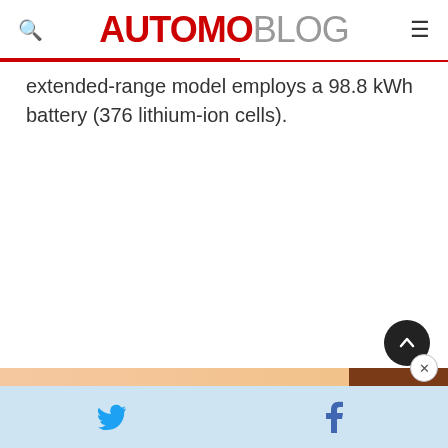AUTOMOBLOG
extended-range model employs a 98.8 kWh battery (376 lithium-ion cells).
[Figure (photo): Bottom strip showing a partial vehicle image thumbnail at the bottom of the page]
Social sharing bar with Twitter and Facebook icons